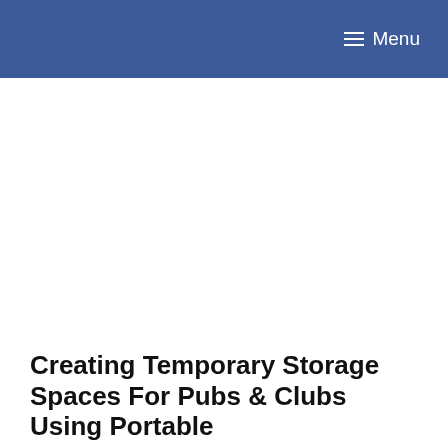≡ Menu
Creating Temporary Storage Spaces For Pubs & Clubs Using Portable